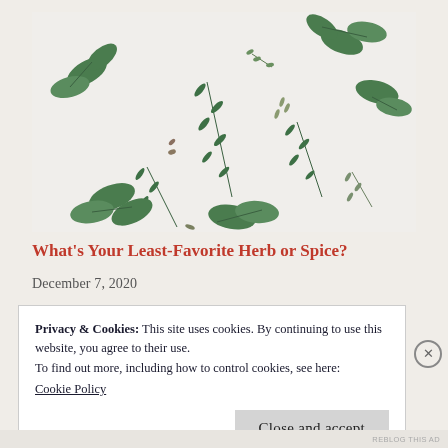[Figure (photo): Overhead flat-lay photo of various green herbs and sprigs (sage, rosemary, thyme, lavender) scattered on a white background.]
What’s Your Least-Favorite Herb or Spice?
December 7, 2020
Privacy & Cookies: This site uses cookies. By continuing to use this website, you agree to their use.
To find out more, including how to control cookies, see here:
Cookie Policy
Close and accept
REBLOG THIS AD